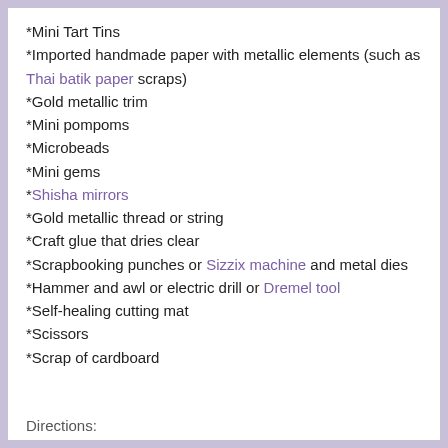*Mini Tart Tins
*Imported handmade paper with metallic elements (such as Thai batik paper scraps)
*Gold metallic trim
*Mini pompoms
*Microbeads
*Mini gems
*Shisha mirrors
*Gold metallic thread or string
*Craft glue that dries clear
*Scrapbooking punches or Sizzix machine and metal dies
*Hammer and awl or electric drill or Dremel tool
*Self-healing cutting mat
*Scissors
*Scrap of cardboard
Directions: